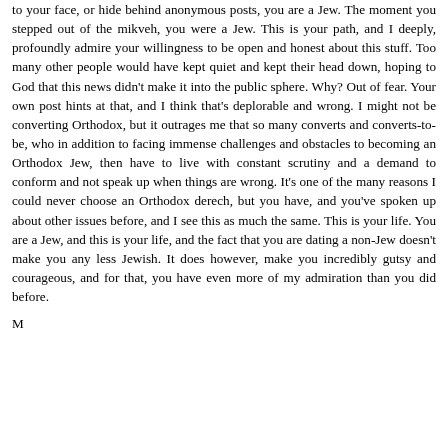to your face, or hide behind anonymous posts, you are a Jew. The moment you stepped out of the mikveh, you were a Jew. This is your path, and I deeply, profoundly admire your willingness to be open and honest about this stuff. Too many other people would have kept quiet and kept their head down, hoping to God that this news didn't make it into the public sphere. Why? Out of fear. Your own post hints at that, and I think that's deplorable and wrong. I might not be converting Orthodox, but it outrages me that so many converts and converts-to-be, who in addition to facing immense challenges and obstacles to becoming an Orthodox Jew, then have to live with constant scrutiny and a demand to conform and not speak up when things are wrong. It's one of the many reasons I could never choose an Orthodox derech, but you have, and you've spoken up about other issues before, and I see this as much the same. This is your life. You are a Jew, and this is your life, and the fact that you are dating a non-Jew doesn't make you any less Jewish. It does however, make you incredibly gutsy and courageous, and for that, you have even more of my admiration than you did before.
M